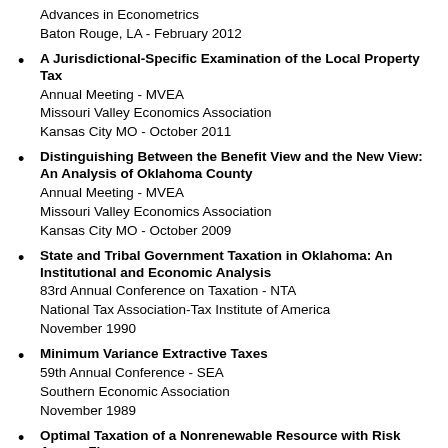Advances in Econometrics
Baton Rouge, LA - February 2012
A Jurisdictional-Specific Examination of the Local Property Tax
Annual Meeting - MVEA
Missouri Valley Economics Association
Kansas City MO - October 2011
Distinguishing Between the Benefit View and the New View: An Analysis of Oklahoma County
Annual Meeting - MVEA
Missouri Valley Economics Association
Kansas City MO - October 2009
State and Tribal Government Taxation in Oklahoma: An Institutional and Economic Analysis
83rd Annual Conference on Taxation - NTA
National Tax Association-Tax Institute of America
November 1990
Minimum Variance Extractive Taxes
59th Annual Conference - SEA
Southern Economic Association
November 1989
Optimal Taxation of a Nonrenewable Resource with Risk Averse Firms